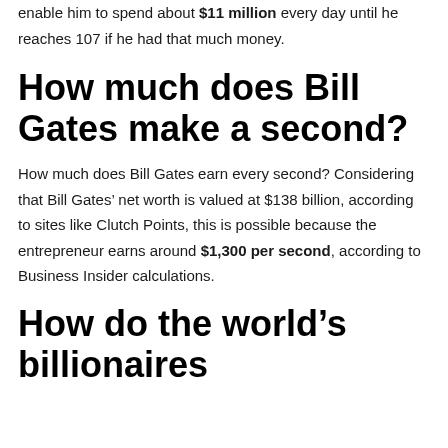enable him to spend about $11 million every day until he reaches 107 if he had that much money.
How much does Bill Gates make a second?
How much does Bill Gates earn every second? Considering that Bill Gates’ net worth is valued at $138 billion, according to sites like Clutch Points, this is possible because the entrepreneur earns around $1,300 per second, according to Business Insider calculations.
How do the world’s billionaires